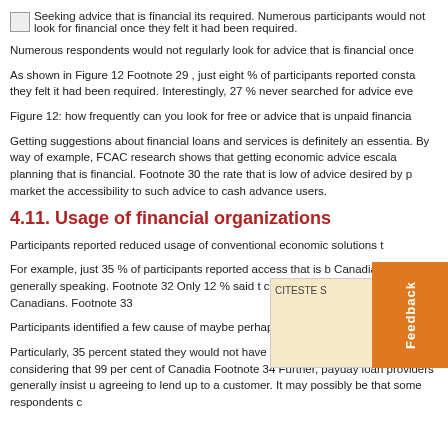[Figure (other): Small image icon placeholder followed by text about seeking financial advice]
Seeking advice that is financial its required. Numerous participants would not look for financial once they felt it had been required.
Numerous respondents would not regularly look for advice that is financial once
As shown in Figure 12 Footnote 29 , just eight % of participants reported constantly they felt it had been required. Interestingly, 27 % never searched for advice eve
Figure 12: how frequently can you look for free or advice that is unpaid financia
Getting suggestions about financial loans and services is definitely an essentia. By way of example, FCAC research shows that getting economic advice escala planning that is financial. Footnote 30 the rate that is low of advice desired by p market the accessibility to such advice to cash advance users.
4.11. Usage of financial organizations
Participants reported reduced usage of conventional economic solutions t
For example, just 35 % of participants reported access that is b Canadians generally speaking. Footnote 32 Only 12 % said t comparison to 40 per cent of Canadians. Footnote 33
Participants identified a few cause of maybe perhaps not cre
Particularly, 35 percent stated they would not have usage of a last loan. It is striking, considering that 99 per cent of Canadia Footnote 34 Further, payday loan providers generally insist u agreeing to lend up to a customer. It may possibly be that some respondents c